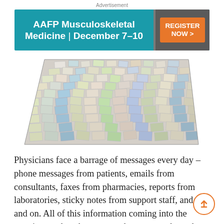Advertisement
[Figure (illustration): AAFP Musculoskeletal Medicine advertisement banner with teal background, showing event title and 'REGISTER NOW >' button in orange on dark grey background. Text reads: AAFP Musculoskeletal Medicine | December 7-10]
[Figure (illustration): Illustration of a large pile of paper messages, sticky notes, faxes, and documents stacked and scattered. Credit: © 2012 ROBERT NEUBECKER]
Physicians face a barrage of messages every day – phone messages from patients, emails from consultants, faxes from pharmacies, reports from laboratories, sticky notes from support staff, and on and on. All of this information coming into the practice needs to be processed, routed, and acted upon promptly and efficiently. Failure to do so can